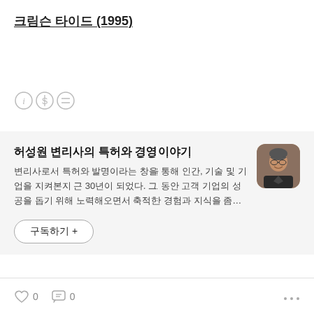크림슨 타이드 (1995)
[Figure (infographic): Three small circular icons: info (i), currency (S with stroke), and equals sign]
허성원 변리사의 특허와 경영이야기
변리사로서 특허와 발명이라는 창을 통해 인간, 기술 및 기업을 지켜본지 근 30년이 되었다. 그 동안 고객 기업의 성공을 돕기 위해 노력해오면서 축적한 경험과 지식을 좀…
[Figure (photo): Profile photo of an older man in a dark jacket, smiling, with rounded square crop]
구독하기 +
0  0  ···